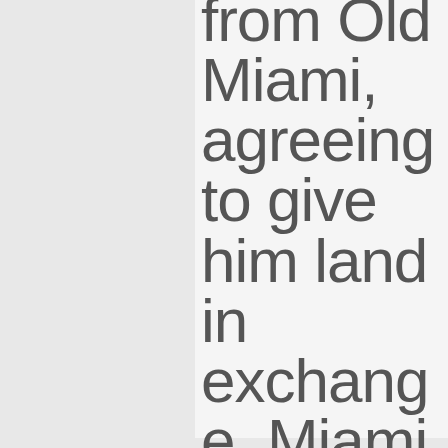from Old Miami, agreeing to give him land in exchange. Miami Beach began as a 165-acre plot of land purchased from brokers